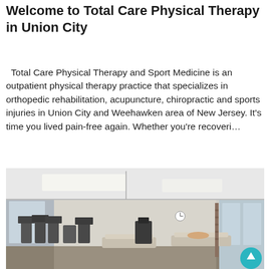Welcome to Total Care Physical Therapy in Union City
Total Care Physical Therapy and Sport Medicine is an outpatient physical therapy practice that specializes in orthopedic rehabilitation, acupuncture, chiropractic and sports injuries in Union City and Weehawken area of New Jersey. It's time you lived pain-free again. Whether you're recoveri...
[Figure (photo): Interior photo of a physical therapy gym showing exercise equipment including treadmills and weight machines on the left side, treatment tables in the center and right, and large windows in the background. The ceiling has recessed lighting panels. A clock is visible on the far wall.]